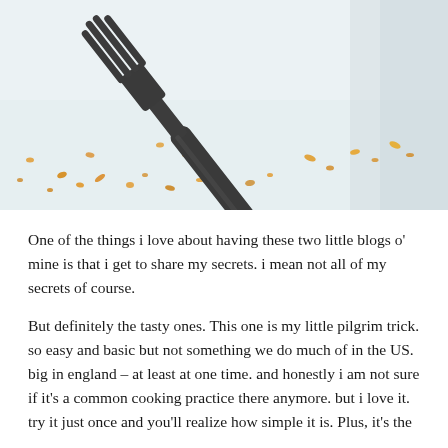[Figure (photo): Close-up photo of a dark grey/black fork on a white plate with scattered orange food crumbs/residue]
One of the things i love about having these two little blogs o' mine is that i get to share my secrets. i mean not all of my secrets of course.
But definitely the tasty ones. This one is my little pilgrim trick. so easy and basic but not something we do much of in the US. big in england – at least at one time. and honestly i am not sure if it's a common cooking practice there anymore. but i love it. try it just once and you'll realize how simple it is. Plus, it's the